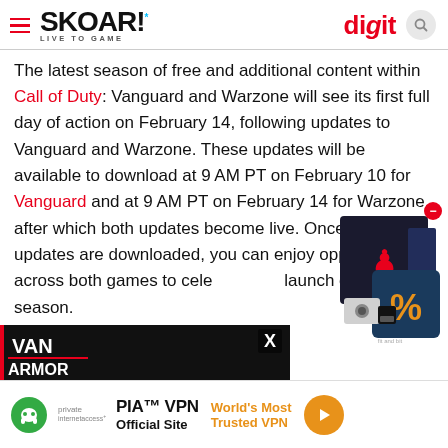SKOAR! LIVE TO GAME | digit
The latest season of free and additional content within Call of Duty: Vanguard and Warzone will see its first full day of action on February 14, following updates to Vanguard and Warzone. These updates will be available to download at 9 AM PT on February 10 for Vanguard and at 9 AM PT on February 14 for Warzone, after which both updates become live. Once both updates are downloaded, you can enjoy opportunities across both games to celebrate the launch of this new season.
[Figure (screenshot): Advertisement popup showing a discount box with percent symbol and red game controller icon]
[Figure (screenshot): Bottom advertisement banner for PIA VPN - World's Most Trusted VPN with orange arrow button]